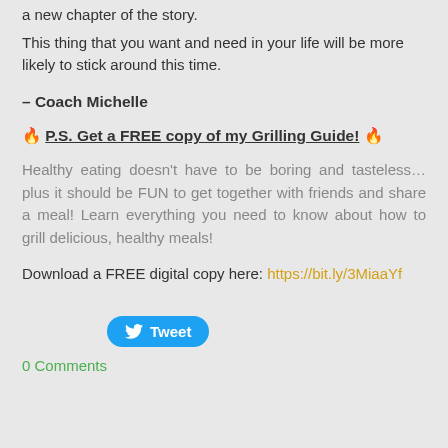a new chapter of the story.
This thing that you want and need in your life will be more likely to stick around this time.
– Coach Michelle
🔥 P.S. Get a FREE copy of my Grilling Guide! 🔥
Healthy eating doesn't have to be boring and tasteless… plus it should be FUN to get together with friends and share a meal! Learn everything you need to know about how to grill delicious, healthy meals!
Download a FREE digital copy here: https://bit.ly/3MiaaYf
[Figure (other): Twitter Tweet button in blue with bird icon]
0 Comments